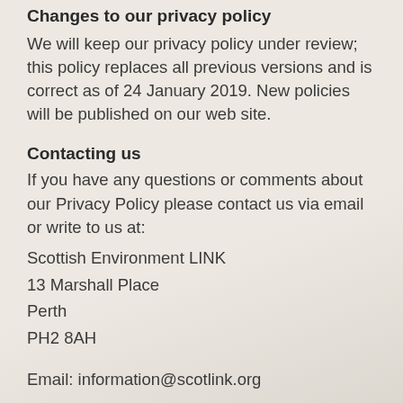Changes to our privacy policy
We will keep our privacy policy under review; this policy replaces all previous versions and is correct as of 24 January 2019. New policies will be published on our web site.
Contacting us
If you have any questions or comments about our Privacy Policy please contact us via email or write to us at:
Scottish Environment LINK
13 Marshall Place
Perth
PH2 8AH
Email: information@scotlink.org